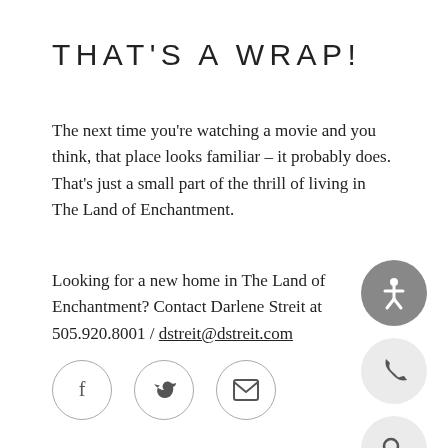THAT'S A WRAP!
The next time you’re watching a movie and you think, that place looks familiar – it probably does. That’s just a small part of the thrill of living in The Land of Enchantment.
Looking for a new home in The Land of Enchantment? Contact Darlene Streit at 505.920.8001 / dstreit@dstreit.com
[Figure (illustration): Three social media icon circles (Facebook, Twitter, Email/envelope) and two right-side sidebar icons (accessibility person icon on dark grey circle, phone icon on light grey circle, and search magnifying glass on light grey circle)]